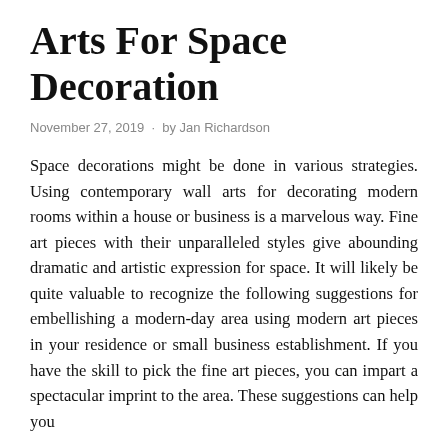Arts For Space Decoration
November 27, 2019  ·  by Jan Richardson
Space decorations might be done in various strategies. Using contemporary wall arts for decorating modern rooms within a house or business is a marvelous way. Fine art pieces with their unparalleled styles give abounding dramatic and artistic expression for space. It will likely be quite valuable to recognize the following suggestions for embellishing a modern-day area using modern art pieces in your residence or small business establishment. If you have the skill to pick the fine art pieces, you can impart a spectacular imprint to the area. These suggestions can help you